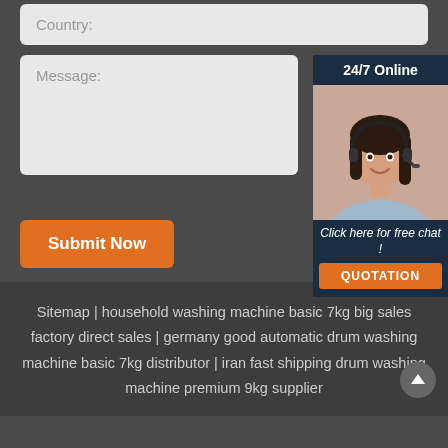[Figure (screenshot): Country input field (form element) with placeholder text 'Country:']
[Figure (screenshot): Message textarea (form element) with placeholder text 'Message:']
[Figure (screenshot): 24/7 Online chat widget with photo of woman wearing headset, 'Click here for free chat!' text, and 'QUOTATION' button]
[Figure (screenshot): Orange 'Submit Now' button]
Sitemap | household washing machine basic 7kg big sales factory direct sales | germany good automatic drum washing machine basic 7kg distributor | iran fast shipping drum washing machine premium 9kg supplier